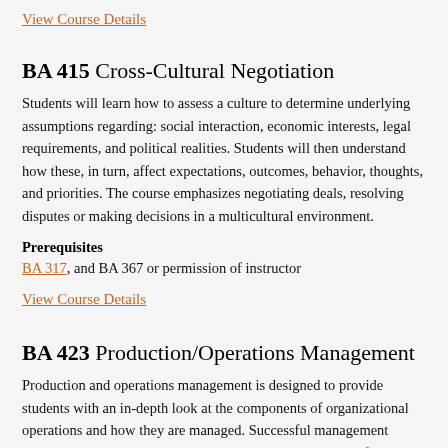View Course Details
BA 415 Cross-Cultural Negotiation
Students will learn how to assess a culture to determine underlying assumptions regarding: social interaction, economic interests, legal requirements, and political realities. Students will then understand how these, in turn, affect expectations, outcomes, behavior, thoughts, and priorities. The course emphasizes negotiating deals, resolving disputes or making decisions in a multicultural environment.
Prerequisites
BA 317, and BA 367 or permission of instructor
View Course Details
BA 423 Production/Operations Management
Production and operations management is designed to provide students with an in-depth look at the components of organizational operations and how they are managed. Successful management incorporates theories and practices that apply to a variety of operational areas involving factory and service